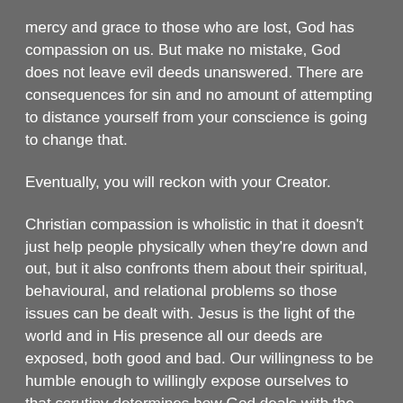mercy and grace to those who are lost, God has compassion on us. But make no mistake, God does not leave evil deeds unanswered. There are consequences for sin and no amount of attempting to distance yourself from your conscience is going to change that.
Eventually, you will reckon with your Creator.
Christian compassion is wholistic in that it doesn't just help people physically when they're down and out, but it also confronts them about their spiritual, behavioural, and relational problems so those issues can be dealt with. Jesus is the light of the world and in His presence all our deeds are exposed, both good and bad. Our willingness to be humble enough to willingly expose ourselves to that scrutiny determines how God deals with the demands for justice and His preference for mercy.